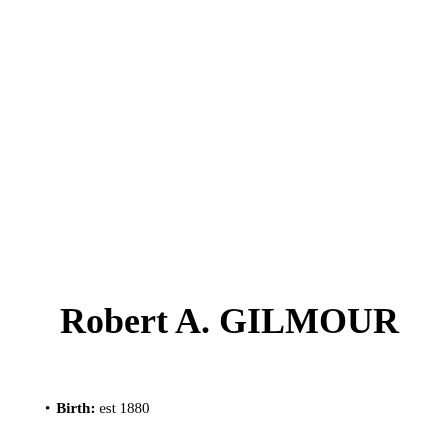Robert A. GILMOUR
Birth: est 1880